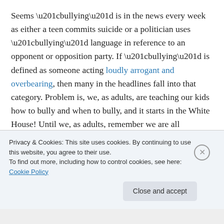Seems “bullying” is in the news every week as either a teen commits suicide or a politician uses “bullying” language in reference to an opponent or opposition party. If “bullying” is defined as someone acting loudly arrogant and overbearing, then many in the headlines fall into that category. Problem is, we, as adults, are teaching our kids how to bully and when to bully, and it starts in the White House! Until we, as adults, remember we are all Americans & we all have a voice, our kids will pay the price for our bigotry.
Privacy & Cookies: This site uses cookies. By continuing to use this website, you agree to their use.
To find out more, including how to control cookies, see here: Cookie Policy